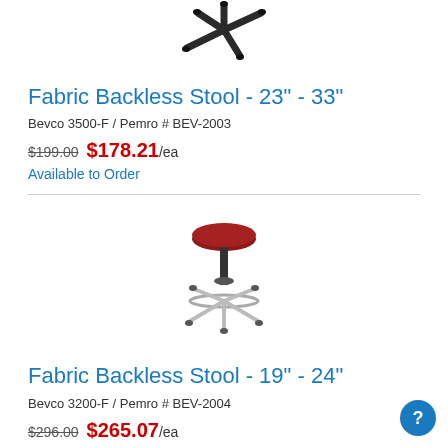[Figure (photo): Black backless stool with 5-star caster base, viewed from above/side, showing the base only]
Fabric Backless Stool - 23" - 33"
Bevco 3500-F  /  Pemro # BEV-2003
$199.00  $178.21/ea
Available to Order
[Figure (photo): Red-cushioned backless stool with chrome 5-star caster base]
Fabric Backless Stool - 19" - 24"
Bevco 3200-F  /  Pemro # BEV-2004
$296.00  $265.07/ea